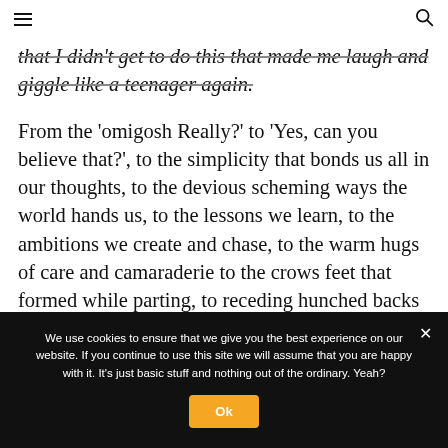☰  🔍
that I didn't get to do this that made me laugh and giggle like a teenager again.
From the ‘omigosh Really?’ to ‘Yes, can you believe that?’, to the simplicity that bonds us all in our thoughts, to the devious scheming ways the world hands us, to the lessons we learn, to the ambitions we create and chase, to the warm hugs of care and camaraderie to the crows feet that formed while parting, to receding hunched backs and the waves before the handshakes, and the
We use cookies to ensure that we give you the best experience on our website. If you continue to use this site we will assume that you are happy with it. It’s just basic stuff and nothing out of the ordinary. Yeah?
Ok